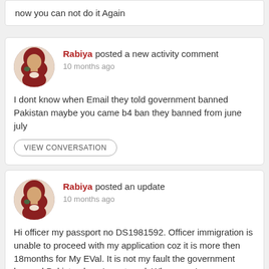now you can not do it Again
Rabiya posted a new activity comment
10 months ago
I dont know when Email they told government banned Pakistan maybe you came b4 ban they banned from june july
VIEW CONVERSATION
Rabiya posted an update
10 months ago
Hi officer my passport no DS1981592. Officer immigration is unable to proceed with my application coz it is more then 18months for My EVal. It is not my fault the government banned Pakistan how I can travel. Whenever I